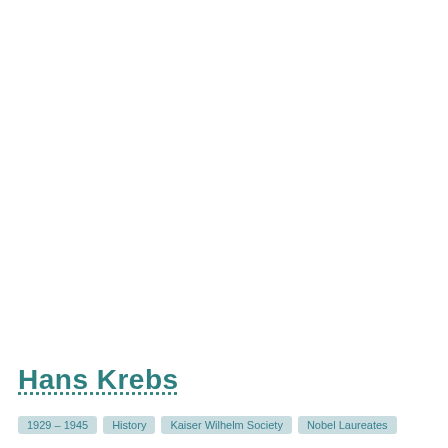Hans Krebs
1929 – 1945
History
Kaiser Wilhelm Society
Nobel Laureates